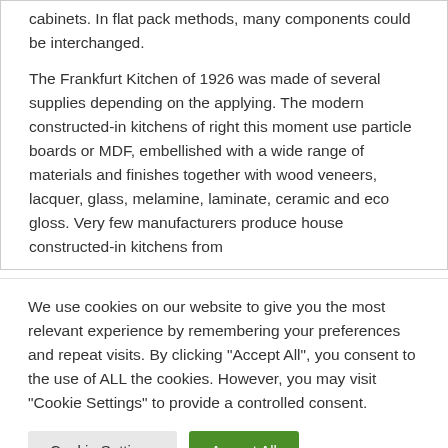cabinets. In flat pack methods, many components could be interchanged.
The Frankfurt Kitchen of 1926 was made of several supplies depending on the applying. The modern constructed-in kitchens of right this moment use particle boards or MDF, embellished with a wide range of materials and finishes together with wood veneers, lacquer, glass, melamine, laminate, ceramic and eco gloss. Very few manufacturers produce house constructed-in kitchens from
We use cookies on our website to give you the most relevant experience by remembering your preferences and repeat visits. By clicking "Accept All", you consent to the use of ALL the cookies. However, you may visit "Cookie Settings" to provide a controlled consent.
Cookie Settings
Accept All